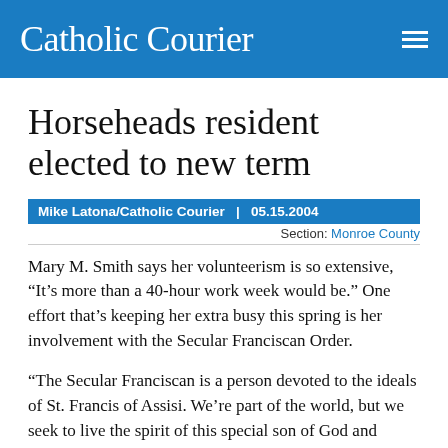Catholic Courier
Horseheads resident elected to new term
Mike Latona/Catholic Courier  |  05.15.2004
Section: Monroe County
Mary M. Smith says her volunteerism is so extensive, “It’s more than a 40-hour work week would be.” One effort that’s keeping her extra busy this spring is her involvement with the Secular Franciscan Order.
“The Secular Franciscan is a person devoted to the ideals of St. Francis of Assisi. We’re part of the world, but we seek to live the spirit of this special son of God and provide an